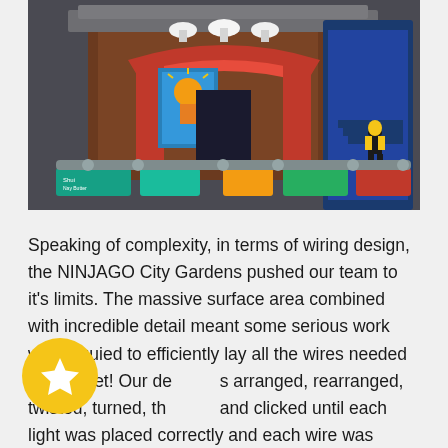[Figure (photo): Close-up photograph of a LEGO NINJAGO City set featuring a Japanese-style building with red pillars, a red arched roof, a blue decorative poster with a ninja character, colorful market stalls or shop fronts at the base, and a LEGO minifigure of a ninja character in black and yellow on the right side.]
Speaking of complexity, in terms of wiring design, the NINJAGO City Gardens pushed our team to it's limits. The massive surface area combined with incredible detail meant some serious work was requied to efficiently lay all the wires needed for this set! Our designers arranged, rearranged, twisted, turned, thought, and clicked until each light was placed correctly and each wire was neatly concealed in the most cost effective way possible. A new personal best